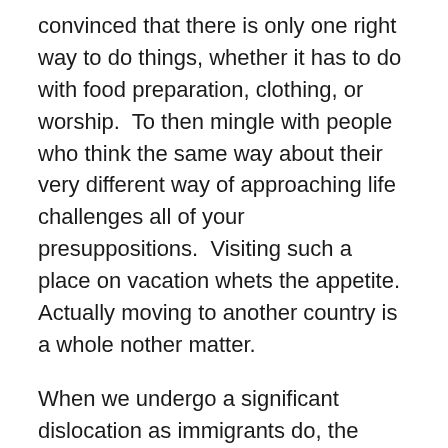convinced that there is only one right way to do things, whether it has to do with food preparation, clothing, or worship.  To then mingle with people who think the same way about their very different way of approaching life challenges all of your presuppositions.  Visiting such a place on vacation whets the appetite.  Actually moving to another country is a whole nother matter.
When we undergo a significant dislocation as immigrants do, the process of adapting to a different culture presents its own obstacles.  There is the need to fit in quickly, to get settled, so that people won't raise their eyebrows at everything you do!  I had a Trinnie friend who moved from her island home (actually she would quickly let you know she came from Tobago!) to England, and later moved to New York.  She made the whole Brooklyn delicatessen shun her when she asked the server how much for a joint